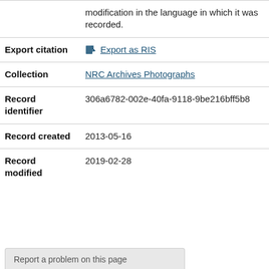|  | modification in the language in which it was recorded. |
| Export citation | Export as RIS |
| Collection | NRC Archives Photographs |
| Record identifier | 306a6782-002e-40fa-9118-9be216bff5b8 |
| Record created | 2013-05-16 |
| Record modified | 2019-02-28 |
Report a problem on this page